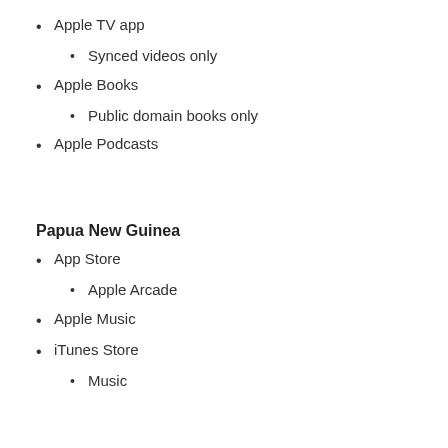Apple TV app
Synced videos only
Apple Books
Public domain books only
Apple Podcasts
Papua New Guinea
App Store
Apple Arcade
Apple Music
iTunes Store
Music